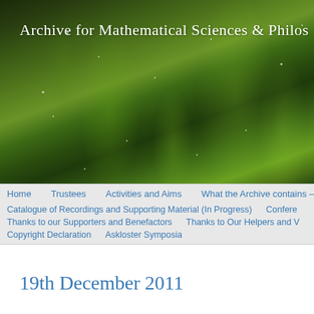[Figure (photo): Aurora borealis (northern lights) photo used as banner background for 'Archive for Mathematical Sciences & Philosophy' website header]
Archive for Mathematical Sciences & Philos
Home   Trustees   Activities and Aims   What the Archive contains –   Catalogue of Recordings and Supporting Material (In Progress)   Confere   Thanks to our Supporters and Benefactors   Thanks to Our Helpers and V   Copyright Declaration   Askloster Symposia
19th December 2011